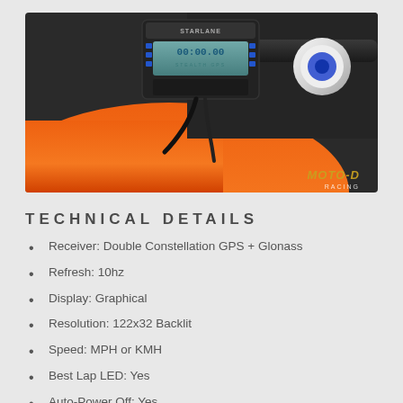[Figure (photo): Photo of a GPS lap timer device (STARLANE Stealth GPS) mounted on the handlebars of an orange motorcycle. Blue buttons visible on the device. MOTO-D branding watermark in bottom right corner.]
TECHNICAL DETAILS
Receiver: Double Constellation GPS + Glonass
Refresh: 10hz
Display: Graphical
Resolution: 122x32 Backlit
Speed: MPH or KMH
Best Lap LED: Yes
Auto-Power Off: Yes
Inertial: Accel + Gyro + Magnetometer
Buttons: Easy Push, Silicon